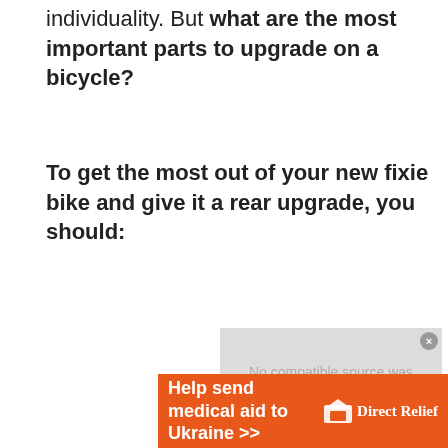individuality. But what are the most important parts to upgrade on a bicycle?
To get the most out of your new fixie bike and give it a rear upgrade, you should:
[Figure (other): Video player placeholder showing 'No compatible source was found for this media.' with a close button.]
[Figure (other): Advertisement banner: 'Help send medical aid to Ukraine >>' with Direct Relief logo on an orange background.]